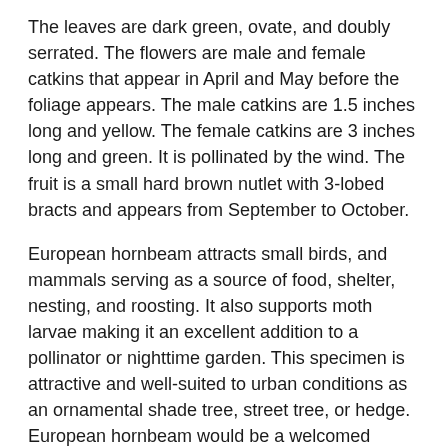The leaves are dark green, ovate, and doubly serrated. The flowers are male and female catkins that appear in April and May before the foliage appears. The male catkins are 1.5 inches long and yellow. The female catkins are 3 inches long and green. It is pollinated by the wind. The fruit is a small hard brown nutlet with 3-lobed bracts and appears from September to October.
European hornbeam attracts small birds, and mammals serving as a source of food, shelter, nesting, and roosting. It also supports moth larvae making it an excellent addition to a pollinator or nighttime garden. This specimen is attractive and well-suited to urban conditions as an ornamental shade tree, street tree, or hedge. European hornbeam would be a welcomed addition to any home lawn or recreational area.
Insects, Diseases, and Other
Plant Problems: No serious insect or disease problems are known. Fungi may cause Leaf spots. Gray Squirrels